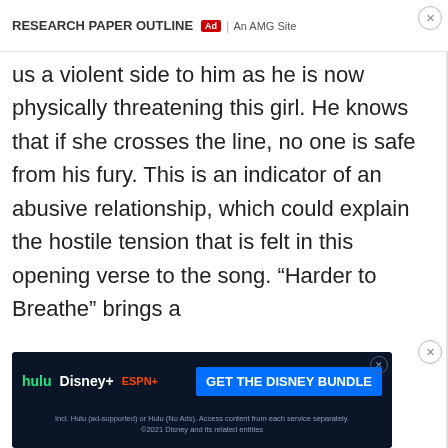RESEARCH PAPER OUTLINE | Ad | An AMG Site
us a violent side to him as he is now physically threatening this girl. He knows that if she crosses the line, no one is safe from his fury. This is an indicator of an abusive relationship, which could explain the hostile tension that is felt in this opening verse to the song. “Harder to Breathe” brings a hostile and resentful agitation to the
[Figure (screenshot): Disney Bundle advertisement banner at the bottom of the page. Shows Hulu, Disney+, and ESPN+ logos with 'GET THE DISNEY BUNDLE' call to action button on dark blue background. Fine print: 'Incl. Hulu (ad-supported) or Hulu (No Ads). Access content from each service separately. ©2021 Disney and its related entities']